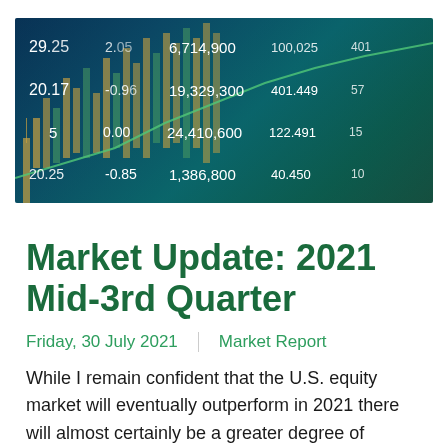[Figure (photo): Stock market ticker board showing financial data numbers including 29.25, 20.17, 0.00, -0.85, 6,714,900, 19,329,300, 24,410,600, 1,386,800, 401.449, 122.491, 40.450 displayed on a dark blue/teal background with candlestick chart bars]
Market Update: 2021 Mid-3rd Quarter
Friday, 30 July 2021  |  Market Report
While I remain confident that the U.S. equity market will eventually outperform in 2021 there will almost certainly be a greater degree of